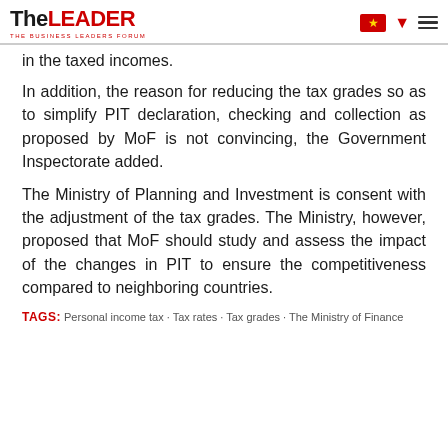TheLEADER - THE BUSINESS LEADERS FORUM
in the taxed incomes.
In addition, the reason for reducing the tax grades so as to simplify PIT declaration, checking and collection as proposed by MoF is not convincing, the Government Inspectorate added.
The Ministry of Planning and Investment is consent with the adjustment of the tax grades. The Ministry, however, proposed that MoF should study and assess the impact of the changes in PIT to ensure the competitiveness compared to neighboring countries.
TAGS: Personal income tax · Tax rates · Tax grades · The Ministry of Finance